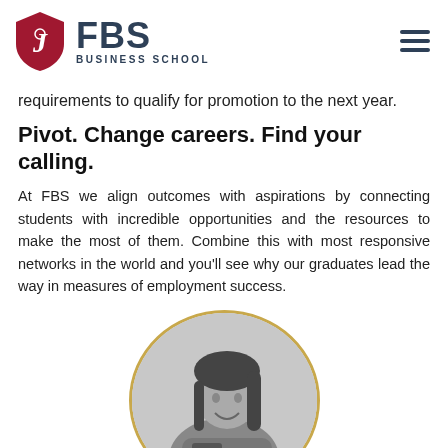[Figure (logo): FBS Business School logo with crimson shield and stylized letter mark, alongside bold FBS text and BUSINESS SCHOOL subtitle]
requirements to qualify for promotion to the next year.
Pivot. Change careers. Find your calling.
At FBS we align outcomes with aspirations by connecting students with incredible opportunities and the resources to make the most of them. Combine this with most responsive networks in the world and you'll see why our graduates lead the way in measures of employment success.
[Figure (photo): Black and white circular portrait photo of a smiling young woman holding a book/tablet, with a gold/tan circular border]